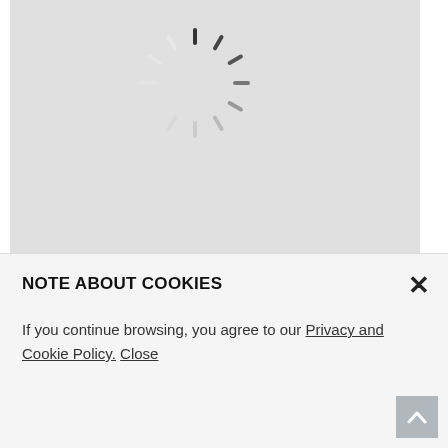[Figure (screenshot): Loading spinner on light grey product image background]
FP-35
Triangle Pipe Base
[Figure (other): Blue plus button and Inquire Now button, and email envelope icon sidebar]
NOTE ABOUT COOKIES
If you continue browsing, you agree to our Privacy and Cookie Policy. Close